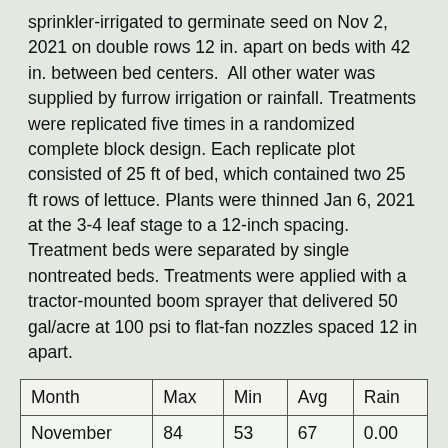sprinkler-irrigated to germinate seed on Nov 2, 2021 on double rows 12 in. apart on beds with 42 in. between bed centers.  All other water was supplied by furrow irrigation or rainfall. Treatments were replicated five times in a randomized complete block design. Each replicate plot consisted of 25 ft of bed, which contained two 25 ft rows of lettuce. Plants were thinned Jan 6, 2021 at the 3-4 leaf stage to a 12-inch spacing. Treatment beds were separated by single nontreated beds. Treatments were applied with a tractor-mounted boom sprayer that delivered 50 gal/acre at 100 psi to flat-fan nozzles spaced 12 in apart.
| Month | Max | Min | Avg | Rain |
| --- | --- | --- | --- | --- |
| November | 84 | 53 | 67 | 0.00 |
| December | 71 | 44 | 57 | 0.27 |
| January | 72 | 42 | 57 | 1.31 |